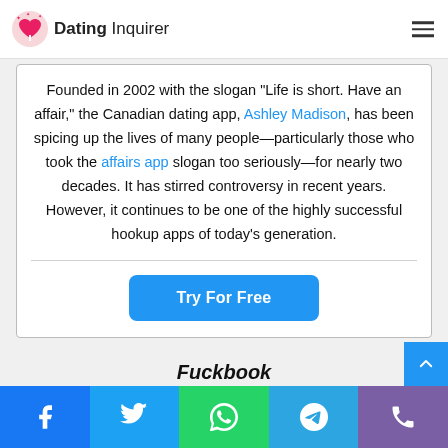Dating Inquirer
Founded in 2002 with the slogan “Life is short. Have an affair,” the Canadian dating app, Ashley Madison, has been spicing up the lives of many people—particularly those who took the affairs app slogan too seriously—for nearly two decades. It has stirred controversy in recent years. However, it continues to be one of the highly successful hookup apps of today’s generation.
Try For Free
Fuckbook